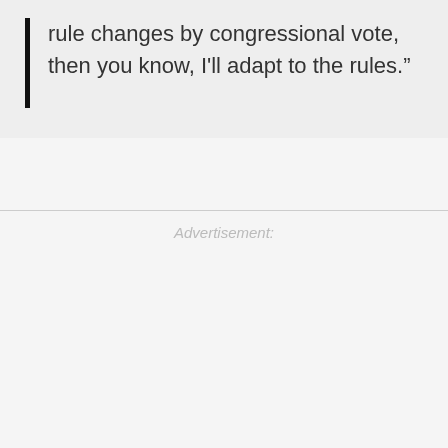rule changes by congressional vote, then you know, I'll adapt to the rules."
Advertisement: